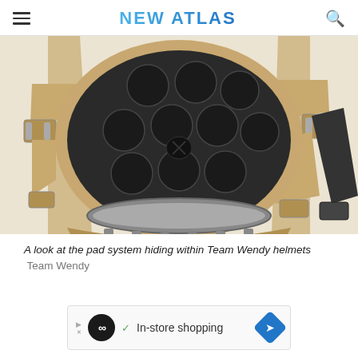NEW ATLAS
[Figure (photo): Interior view of a Team Wendy tactical helmet showing the pad system — round black foam pads arranged in a pattern inside the tan/coyote colored helmet shell with tan straps and buckles visible on the sides.]
A look at the pad system hiding within Team Wendy helmets  Team Wendy
[Figure (other): Advertisement banner: circular black logo with infinity symbol, checkmark, text 'In-store shopping', blue diamond arrow icon on right.]